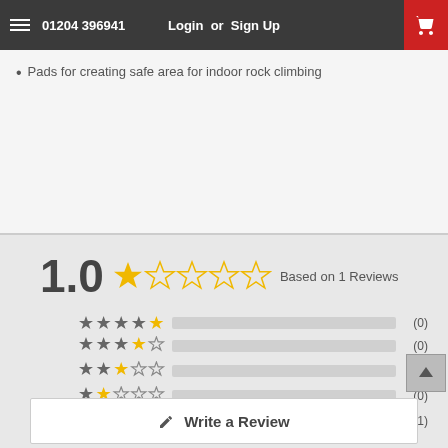01204 396941  Login or  Sign Up
Pads for creating safe area for indoor rock climbing
1.0  Based on 1 Reviews
[Figure (other): Star rating breakdown bars: 5-star (0), 4-star (0), 3-star (0), 2-star (0), 1-star (1)]
0% reviewers would recommend this product
✎ Write a Review